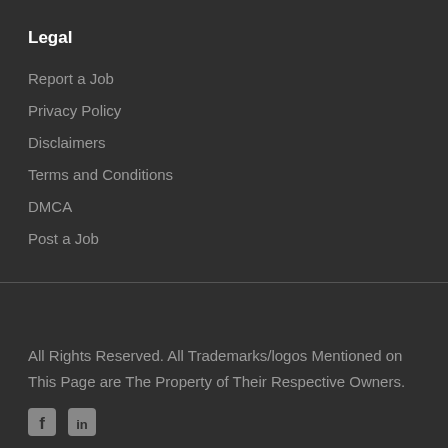Legal
Report a Job
Privacy Policy
Disclaimers
Terms and Conditions
DMCA
Post a Job
All Rights Reserved. All Trademarks/logos Mentioned on This Page are The Property of Their Respective Owners.